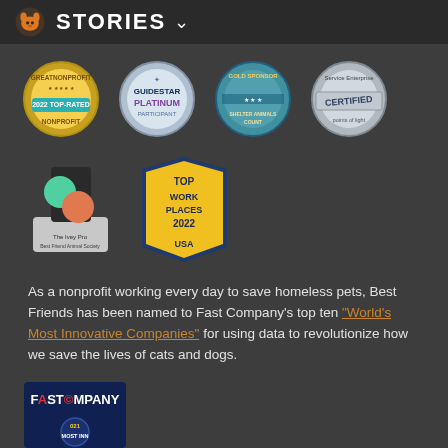STORIES
[Figure (logo): Row of four certification/award badges: GreatNonprofit 2022 Top-Rated, GuideStar Platinum Participant, Gold Sponsor Shelter Animals Count, Service Enterprise Certified]
[Figure (logo): Row of two award badges: The Ivey Pro award trophy and Top Work Places 2022 USA banner]
As a nonprofit working every day to save homeless pets, Best Friends has been named to Fast Company's top ten "World's Most Innovative Companies" for using data to revolutionize how we save the lives of cats and dogs.
[Figure (logo): Fast Company Most Innovative Companies badge/logo]